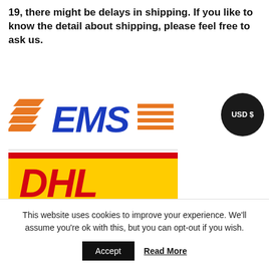19, there might be delays in shipping. If you like to know the detail about shipping, please feel free to ask us.
[Figure (logo): EMS courier service logo with orange wing shape and blue EMS text with orange horizontal stripes]
[Figure (logo): DHL courier service logo — yellow background rectangle with red DHL text in italic style]
[Figure (other): USD $ badge — circular dark button with white text 'USD $']
How to make sure the condition
We uploaded high resolution photos for you to check its condition thoroughly. If you like to see more photos wi...
This website uses cookies to improve your experience. We'll assume you're ok with this, but you can opt-out if you wish.